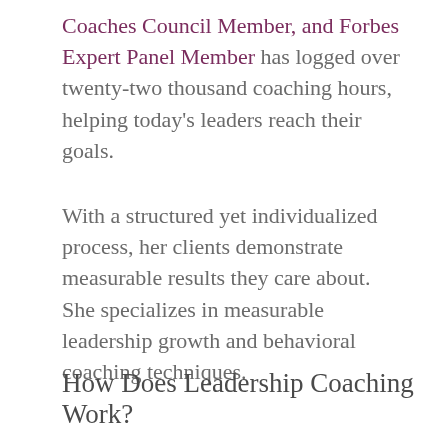Coaches Council Member, and Forbes Expert Panel Member has logged over twenty-two thousand coaching hours, helping today's leaders reach their goals.
With a structured yet individualized process, her clients demonstrate measurable results they care about.  She specializes in measurable leadership growth and behavioral coaching techniques.
How Does Leadership Coaching Work?